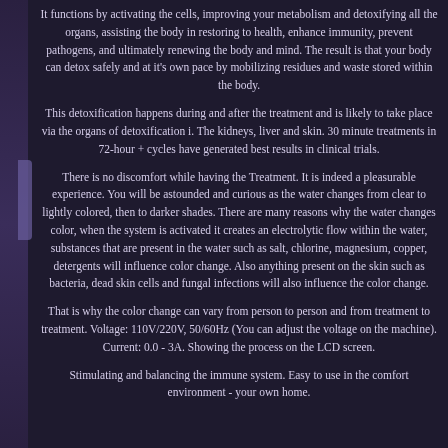It functions by activating the cells, improving your metabolism and detoxifying all the organs, assisting the body in restoring to health, enhance immunity, prevent pathogens, and ultimately renewing the body and mind. The result is that your body can detox safely and at it's own pace by mobilizing residues and waste stored within the body.
This detoxification happens during and after the treatment and is likely to take place via the organs of detoxification i. The kidneys, liver and skin. 30 minute treatments in 72-hour + cycles have generated best results in clinical trials.
There is no discomfort while having the Treatment. It is indeed a pleasurable experience. You will be astounded and curious as the water changes from clear to lightly colored, then to darker shades. There are many reasons why the water changes color, when the system is activated it creates an electrolytic flow within the water, substances that are present in the water such as salt, chlorine, magnesium, copper, detergents will influence color change. Also anything present on the skin such as bacteria, dead skin cells and fungal infections will also influence the color change.
That is why the color change can vary from person to person and from treatment to treatment. Voltage: 110V/220V, 50/60Hz (You can adjust the voltage on the machine). Current: 0.0 - 3A. Showing the process on the LCD screen.
Stimulating and balancing the immune system. Easy to use in the comfort environment - your own home.